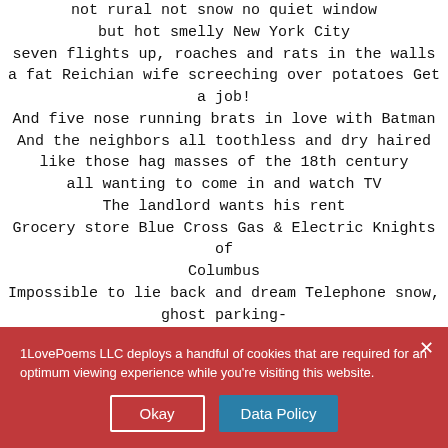not rural not snow no quiet window
but hot smelly New York City
seven flights up, roaches and rats in the walls
a fat Reichian wife screeching over potatoes Get a job!
And five nose running brats in love with Batman
And the neighbors all toothless and dry haired
like those hag masses of the 18th century
all wanting to come in and watch TV
The landlord wants his rent
Grocery store Blue Cross Gas & Electric Knights of Columbus
Impossible to lie back and dream Telephone snow, ghost parking-
No! I should not get married and I should never get married!
But imagine if I were to marry a beautiful sophisticated woman...
tall and pale wearing an elegant black dress and long
1LovePoems LLC deploys a handful of cookies that are required for an optimum viewing experience while you're visiting this website.